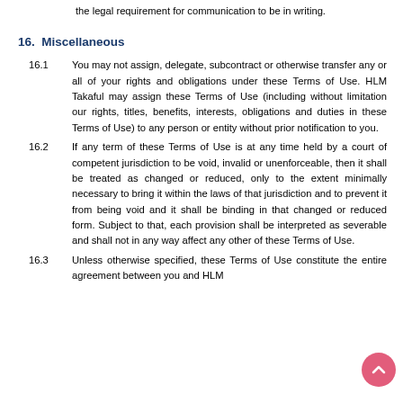the legal requirement for communication to be in writing.
16.  Miscellaneous
16.1  You may not assign, delegate, subcontract or otherwise transfer any or all of your rights and obligations under these Terms of Use. HLM Takaful may assign these Terms of Use (including without limitation our rights, titles, benefits, interests, obligations and duties in these Terms of Use) to any person or entity without prior notification to you.
16.2  If any term of these Terms of Use is at any time held by a court of competent jurisdiction to be void, invalid or unenforceable, then it shall be treated as changed or reduced, only to the extent minimally necessary to bring it within the laws of that jurisdiction and to prevent it from being void and it shall be binding in that changed or reduced form. Subject to that, each provision shall be interpreted as severable and shall not in any way affect any other of these Terms of Use.
16.3  Unless otherwise specified, these Terms of Use constitute the entire agreement between you and HLM